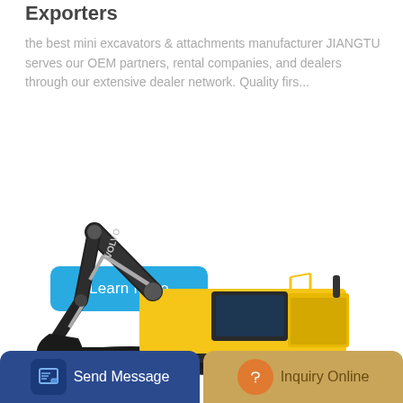Exporters
the best mini excavators & attachments manufacturer JIANGTU serves our OEM partners, rental companies, and dealers through our extensive dealer network. Quality firs...
[Figure (other): Blue rounded button with white text 'Learn More']
[Figure (photo): Large Volvo tracked excavator with yellow and black body, boom extended to the left with bucket, on white background]
[Figure (other): Bottom footer bar with two buttons: 'Send Message' (dark blue with icon) and 'Inquiry Online' (gold/tan with orange circle icon)]